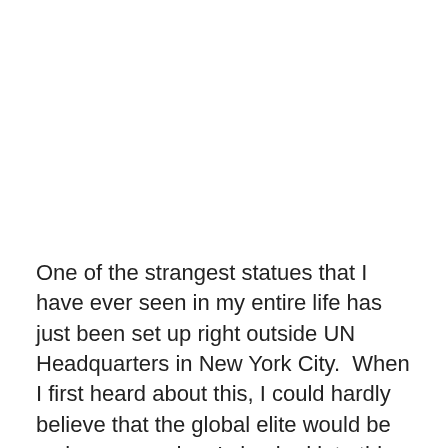One of the strangest statues that I have ever seen in my entire life has just been set up right outside UN Headquarters in New York City.  When I first heard about this, I could hardly believe that the global elite would be so brazen, and so I checked into this very carefully. Unfortunately, this is not just a bad rumor.  This absolutely gigantic statue is called “The Guardian of International Peace and Security”, and it looks like something out of a